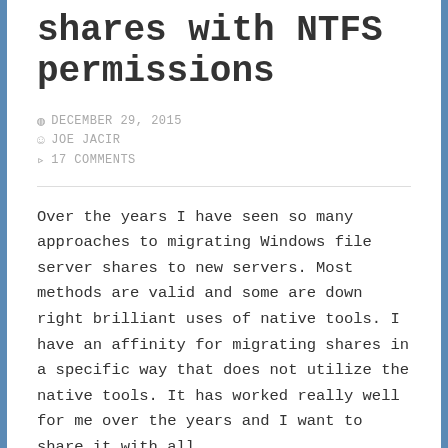shares with NTFS permissions
DECEMBER 29, 2015
JOE JACIR
17 COMMENTS
Over the years I have seen so many approaches to migrating Windows file server shares to new servers. Most methods are valid and some are down right brilliant uses of native tools. I have an affinity for migrating shares in a specific way that does not utilize the native tools. It has worked really well for me over the years and I want to share it with all